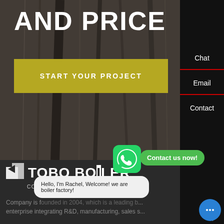AND PRICE
START YOUR PROJECT
[Figure (logo): TOBO BOILER logo with text COST-EFFECTIVE BOILER SUPPLIER]
Chat
Email
Contact us now!
Contact
Hello, I'm Rachel, Welcome! we are boiler factory!
Company is f... enterprise integrating R&D, manufacturing, sales s...
Top